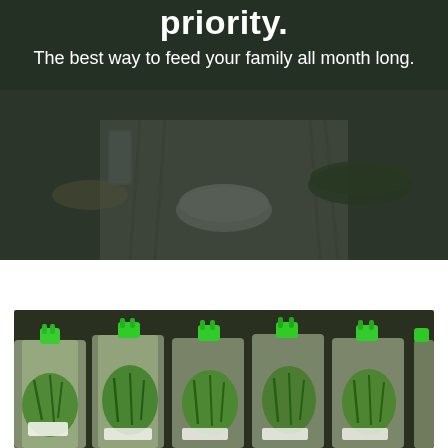[Figure (photo): Dark-toned overhead photo of a family dining table set with dishes, glasses of water, salad bowls, and food, with a white bowl in the center and a striped table runner]
priority.
The best way to feed your family all month long.
[Figure (photo): Close-up photo of multiple clear plastic bags of fresh green vegetables and herbs, each clipped with a bright green clip and labeled with small white tags, arranged in a row]